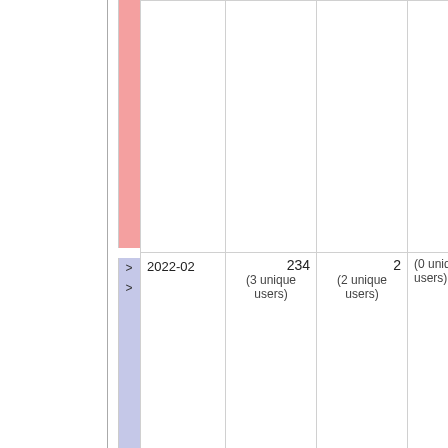|  | Col1 | Col2 | Col3 | Col4 |
| --- | --- | --- | --- | --- |
|  |  |  |  |  |
| 2022-02 | 234
(3 unique users) | 2
(2 unique users) | (0 unique users) |  |
| 2022-01 | 780
(7 unique users) | 5
(3 unique users) | 0
(0 unique users) | 71 W...
45 Tv...
25 Ch...
21 Te...
15 Po... |